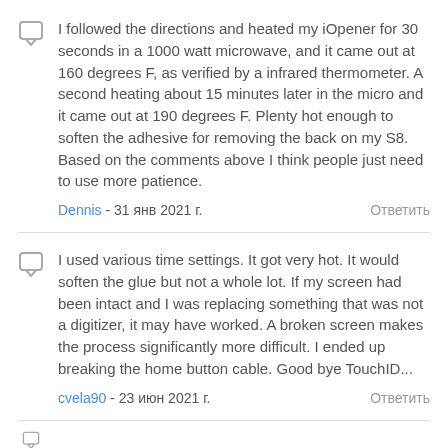I followed the directions and heated my iOpener for 30 seconds in a 1000 watt microwave, and it came out at 160 degrees F, as verified by a infrared thermometer. A second heating about 15 minutes later in the micro and it came out at 190 degrees F. Plenty hot enough to soften the adhesive for removing the back on my S8. Based on the comments above I think people just need to use more patience.
Dennis - 31 янв 2021 г.    Ответить
I used various time settings. It got very hot. It would soften the glue but not a whole lot. If my screen had been intact and I was replacing something that was not a digitizer, it may have worked. A broken screen makes the process significantly more difficult. I ended up breaking the home button cable. Good bye TouchID...
cvela90 - 23 июн 2021 г.    Ответить